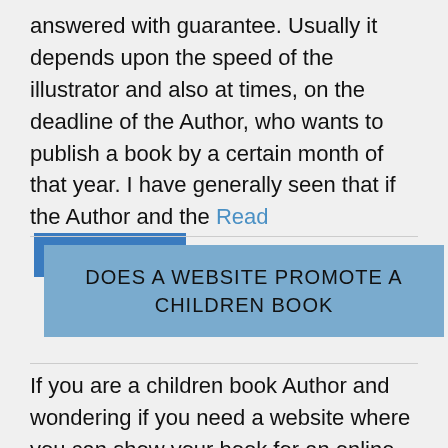answered with guarantee. Usually it depends upon the speed of the illustrator and also at times, on the deadline of the Author, who wants to publish a book by a certain month of that year. I have generally seen that if the Author and the Read [Contact Us]
DOES A WEBSITE PROMOTE A CHILDREN BOOK
If you are a children book Author and wondering if you need a website where you can show your book for an online presence,then the answer to it is a Yes.